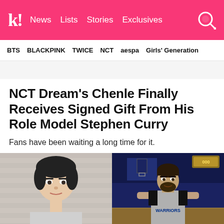k! News  Lists  Stories  Exclusives
BTS  BLACKPINK  TWICE  NCT  aespa  Girls' Generation
NCT Dream's Chenle Finally Receives Signed Gift From His Role Model Stephen Curry
Fans have been waiting a long time for it.
[Figure (photo): Two side-by-side photos: left shows NCT Dream's Chenle, a young man with dark hair against a light brick background; right shows Stephen Curry in a Warriors grey practice jersey on a basketball court with blue lighting.]